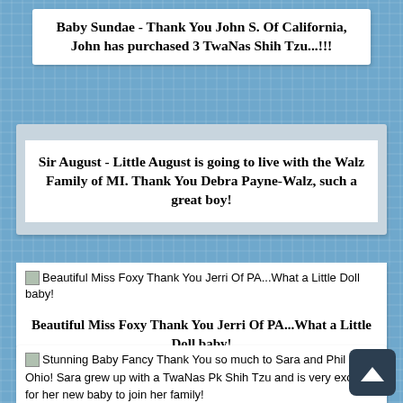Baby Sundae - Thank You John S. Of California, John has purchased 3 TwaNas Shih Tzu...!!!
Sir August - Little August is going to live with the Walz Family of MI. Thank You Debra Payne-Walz, such a great boy!
[Figure (other): Broken image icon for Beautiful Miss Foxy]
Beautiful Miss Foxy Thank You Jerri Of PA...What a Little Doll baby!
[Figure (other): Broken image icon for Stunning Baby Fancy]
Stunning Baby Fancy Thank You so much to Sara and Phil of Ohio! Sara grew up with a TwaNas Pk Shih Tzu and is very excited for her new baby to join her family!